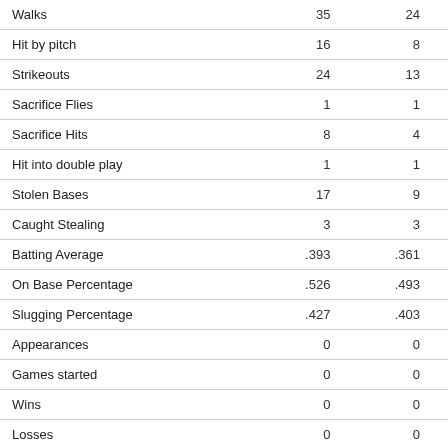|  |  |  |
| --- | --- | --- |
| Walks | 35 | 24 |
| Hit by pitch | 16 | 8 |
| Strikeouts | 24 | 13 |
| Sacrifice Flies | 1 | 1 |
| Sacrifice Hits | 8 | 4 |
| Hit into double play | 1 | 1 |
| Stolen Bases | 17 | 9 |
| Caught Stealing | 3 | 3 |
| Batting Average | .393 | .361 |
| On Base Percentage | .526 | .493 |
| Slugging Percentage | .427 | .403 |
| Appearances | 0 | 0 |
| Games started | 0 | 0 |
| Wins | 0 | 0 |
| Losses | 0 | 0 |
| Saves | 0 | 0 |
| Complete Games | - | - |
| Shutouts | - | - |